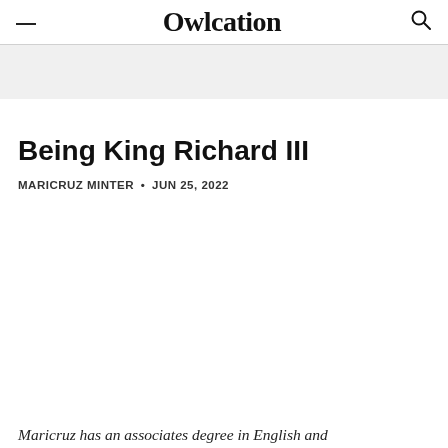Owlcation
Being King Richard III
MARICRUZ MINTER • JUN 25, 2022
Maricruz has an associates degree in English and